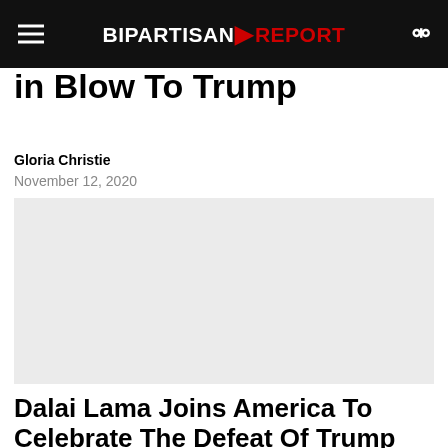BIPARTISAN REPORT
in Blow To Trump
Gloria Christie
November 12, 2020
[Figure (photo): Gray placeholder image for article]
Dalai Lama Joins America To Celebrate The Defeat Of Trump
Gloria Christie
November 8, 2020